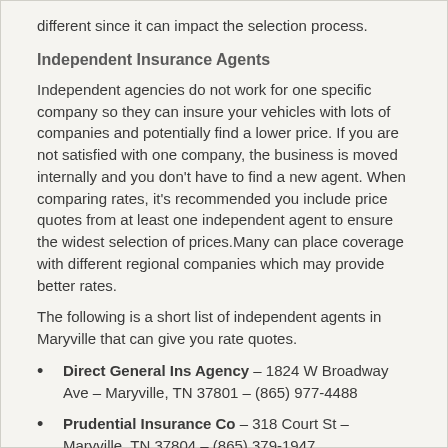different since it can impact the selection process.
Independent Insurance Agents
Independent agencies do not work for one specific company so they can insure your vehicles with lots of companies and potentially find a lower price. If you are not satisfied with one company, the business is moved internally and you don't have to find a new agent. When comparing rates, it's recommended you include price quotes from at least one independent agent to ensure the widest selection of prices.Many can place coverage with different regional companies which may provide better rates.
The following is a short list of independent agents in Maryville that can give you rate quotes.
Direct General Ins Agency – 1824 W Broadway Ave – Maryville, TN 37801 – (865) 977-4488
Prudential Insurance Co – 318 Court St – Maryville, TN 37804 – (865) 379-1947